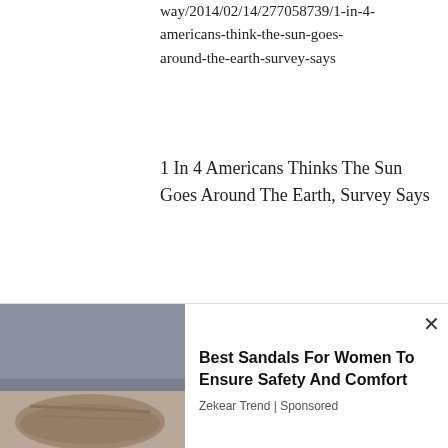way/2014/02/14/277058739/1-in-4-americans-think-the-sun-goes-around-the-earth-survey-says
1 In 4 Americans Thinks The Sun Goes Around The Earth, Survey Says
[Figure (logo): Purple decorative snowflake/geometric pattern avatar icon]
Ralli Ameen / April 12, 2018
[Figure (infographic): Green thumbs-up button with count 0, red thumbs-down button with count 0]
RSSS the donkey. There is no Dravidian race and it refers to family
[Figure (photo): Advertisement showing sandals/shoes on feet with jeans, for Best Sandals For Women To Ensure Safety And Comfort by Zekear Trend (Sponsored)]
Best Sandals For Women To Ensure Safety And Comfort
Zekear Trend | Sponsored